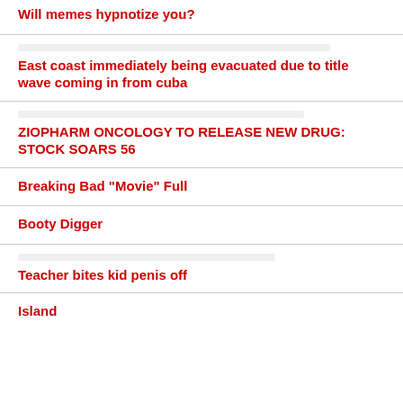Will memes hypnotize you?
East coast immediately being evacuated due to title wave coming in from cuba
ZIOPHARM ONCOLOGY TO RELEASE NEW DRUG: STOCK SOARS 56
Breaking Bad "Movie" Full
Booty Digger
Teacher bites kid penis off
Island